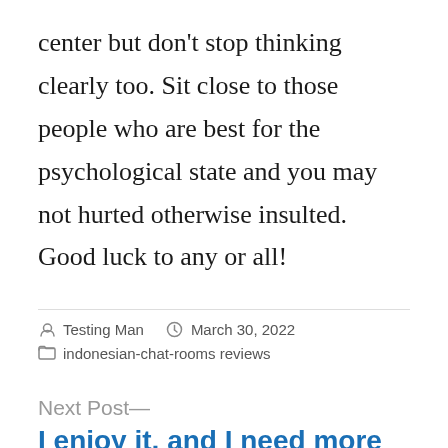center but don't stop thinking clearly too. Sit close to those people who are best for the psychological state and you may not hurted otherwise insulted. Good luck to any or all!
Testing Man  March 30, 2022  indonesian-chat-rooms reviews
Next Post—
I enjoy it, and I need more dating sites would entirely plunge into sex